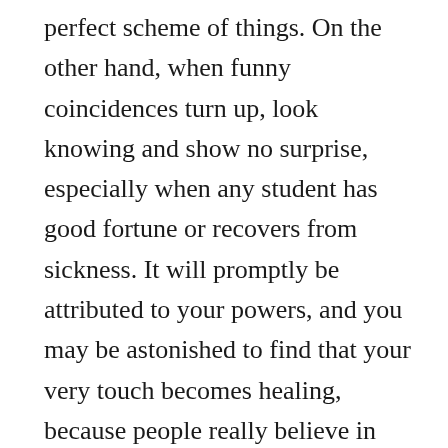perfect scheme of things. On the other hand, when funny coincidences turn up, look knowing and show no surprise, especially when any student has good fortune or recovers from sickness. It will promptly be attributed to your powers, and you may be astonished to find that your very touch becomes healing, because people really believe in you. When it doesn't work, you should sigh gently about lack of faith, or explain that this particular sickness is a very important working out of Karma which will have to be reckoned with some day, so why not now.